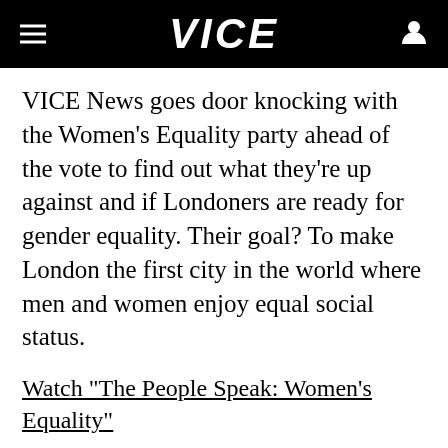VICE
VICE News goes door knocking with the Women's Equality party ahead of the vote to find out what they're up against and if Londoners are ready for gender equality. Their goal? To make London the first city in the world where men and women enjoy equal social status.
Watch "The People Speak: Women's Equality"
Read "Gender Equality is Still a Huge Problem in the Global News Media"
Read "UK Conservatives Are Going to Be Forced to...